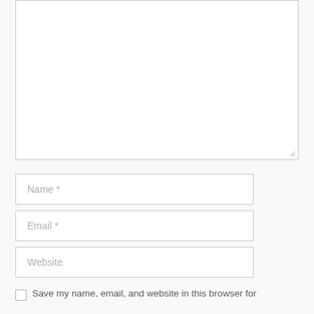[Figure (screenshot): Empty textarea input box with a resize handle in the bottom-right corner]
Name *
Email *
Website
Save my name, email, and website in this browser for